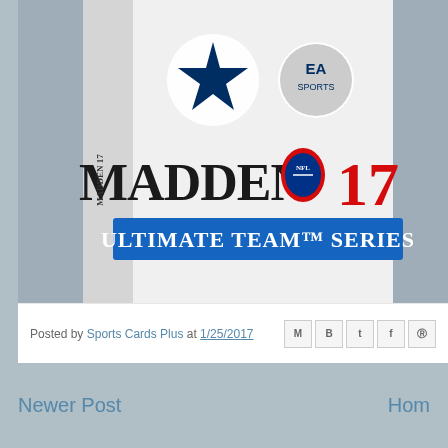[Figure (photo): Madden NFL 17 Ultimate Team Series product box by EA Sports with Dallas Cowboys branding. Box shows Dallas Cowboys star logo, EA Sports logo, MADDEN NFL 17 text in large bold letters, and ULTIMATE TEAM SERIES banner in blue.]
Posted by Sports Cards Plus at 1/25/2017
Newer Post    Home